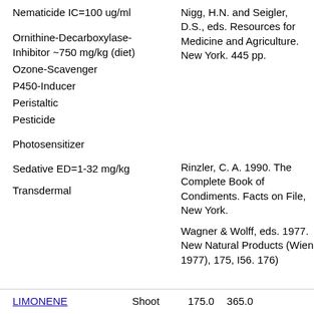Nematicide IC=100 ug/ml
Ornithine-Decarboxylase-Inhibitor ~750 mg/kg (diet)
Ozone-Scavenger
P450-Inducer
Peristaltic
Pesticide
Photosensitizer
Sedative ED=1-32 mg/kg
Transdermal
Nigg, H.N. and Seigler, D.S., eds. Resources for Medicine and Agriculture. New York. 445 pp.
Rinzler, C. A. 1990. The Complete Book of Condiments. Facts on File, New York.
Wagner & Wolff, eds. 1977. New Natural Products (Wien 1977), 175, I56. 176)
LIMONENE   Shoot   175.0   365.0